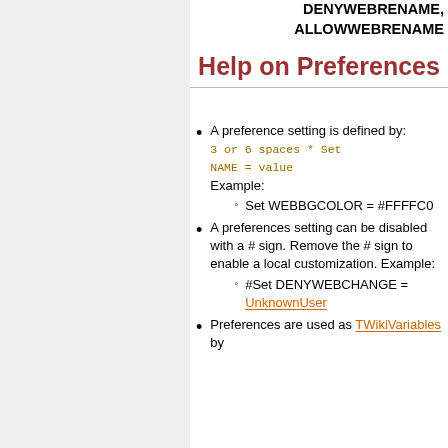DENYWEBRENAME, ALLOWWEBRENAME
Help on Preferences
A preference setting is defined by: 3 or 6 spaces * Set NAME = value Example: Set WEBBGCOLOR = #FFFFC0
A preferences setting can be disabled with a # sign. Remove the # sign to enable a local customization. Example: #Set DENYWEBCHANGE = UnknownUser
Preferences are used as TWikiVariables by